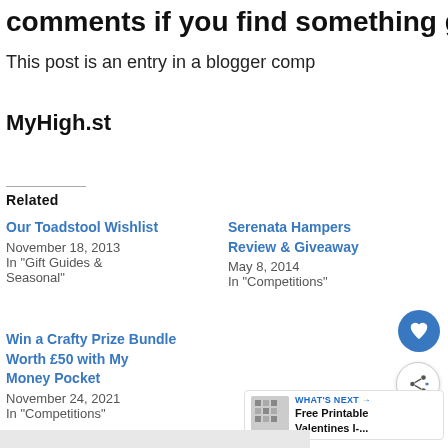comments if you find something great
This post is an entry in a blogger comp
MyHigh.st
Related
Our Toadstool Wishlist
November 18, 2013
In "Gift Guides & Seasonal"
Serenata Hampers Review & Giveaway
May 8, 2014
In "Competitions"
Win a Crafty Prize Bundle Worth £50 with My Money Pocket
November 24, 2021
In "Competitions"
WHAT'S NEXT → Free Printable Valentines I-...